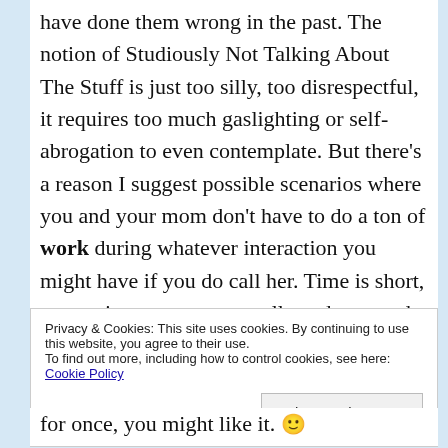have done them wrong in the past. The notion of Studiously Not Talking About The Stuff is just too silly, too disrespectful, it requires too much gaslighting or self-abrogation to even contemplate. But there's a reason I suggest possible scenarios where you and your mom don't have to do a ton of work during whatever interaction you might have if you do call her. Time is short, energy is scarce, you are allowed to spend yours in search of a few pleasant moments in her company vs. "Hey, remember when I reported you to your profession's certifying
Privacy & Cookies: This site uses cookies. By continuing to use this website, you agree to their use. To find out more, including how to control cookies, see here: Cookie Policy
for once, you might like it. 🙂